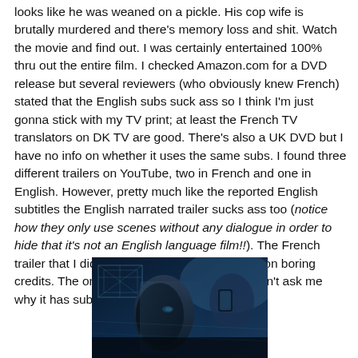looks like he was weaned on a pickle. His cop wife is brutally murdered and there's memory loss and shit. Watch the movie and find out. I was certainly entertained 100% thru out the entire film. I checked Amazon.com for a DVD release but several reviewers (who obviously knew French) stated that the English subs suck ass so I think I'm just gonna stick with my TV print; at least the French TV translators on DK TV are good. There's also a UK DVD but I have no info on whether it uses the same subs. I found three different trailers on YouTube, two in French and one in English. However, pretty much like the reported English subtitles the English narrated trailer sucks ass too (notice how they only use scenes without any dialogue in order to hide that it's not an English language film!!). The French trailer that I didn't use spends half of the time on boring credits. The one I'm posting here is alright. Don't ask me why it has subs in Portuguese. ^_^
[Figure (photo): Dark blue-toned cinematic still showing a man's face in shadow with abstract overlaid graphics or reflections, suggesting a crime/thriller film scene.]